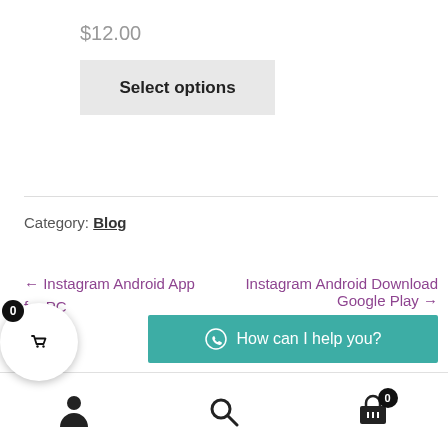$12.00
Select options
Category: Blog
← Instagram Android App
for PC
Instagram Android Download Google Play →
How can I help you?
0  (cart icon)  (person icon)  (search icon)  (cart icon) 0